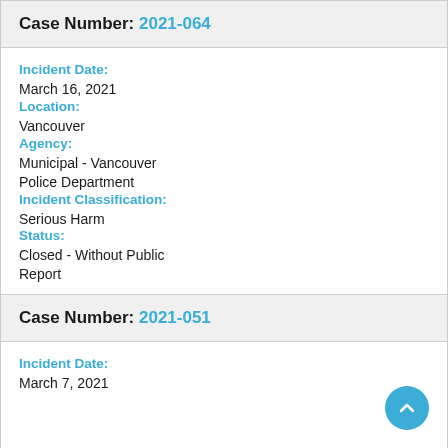Case Number: 2021-064
Incident Date:
March 16, 2021
Location:
Vancouver
Agency:
Municipal - Vancouver Police Department
Incident Classification:
Serious Harm
Status:
Closed - Without Public Report
Case Number: 2021-051
Incident Date:
March 7, 2021